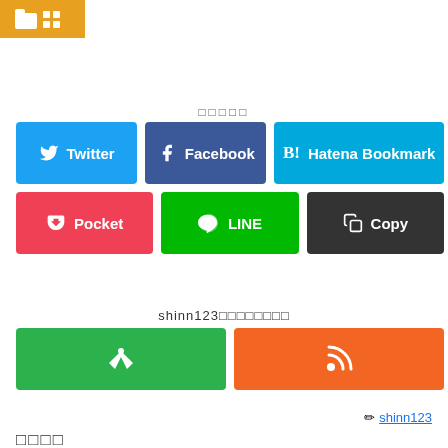[Figure (logo): Orange folder/grid logo icon]
□□□□□
[Figure (infographic): Social sharing buttons: Twitter, Facebook, Hatena Bookmark, Pocket, LINE, Copy]
shinn123□□□□□□□□
[Figure (infographic): Follow buttons: Feedly (green) and RSS (orange)]
✏ shinn123
□□□□